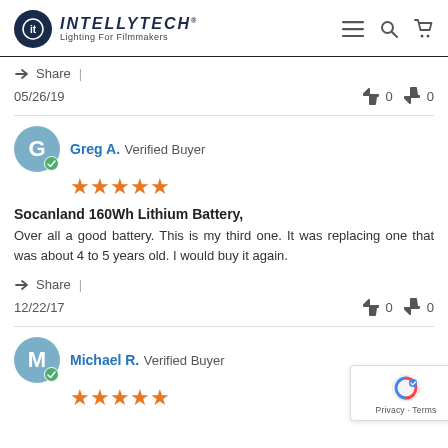INTELLYTECH Lighting For Filmmakers
Share |
05/26/19   👍 0  👎 0
Greg A. Verified Buyer ★★★★★
Socanland 160Wh Lithium Battery,
Over all a good battery. This is my third one. It was replacing one that was about 4 to 5 years old. I would buy it again.
Share |
12/22/17   👍 0  👎 0
Michael R. Verified Buyer ★★★★★
[Figure (logo): reCAPTCHA badge with Privacy and Terms links]